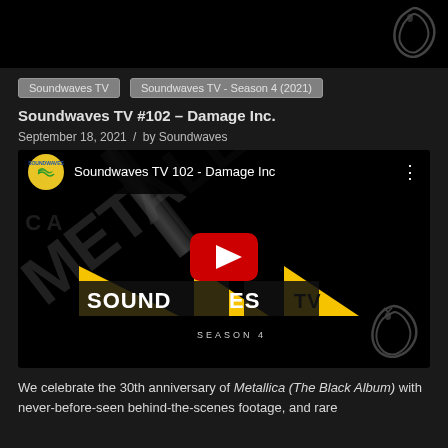[Figure (photo): Top dark banner image with snake logo watermark at top right]
Soundwaves TV
Soundwaves TV - Season 4 (2021)
Soundwaves TV #102 – Damage Inc.
September 18, 2021  /  by Soundwaves
[Figure (screenshot): YouTube video embed showing Soundwaves TV 102 - Damage Inc video thumbnail with Metallica Black Album imagery, Soundwaves TV Season 4 logo, and red YouTube play button]
We celebrate the 30th anniversary of Metallica (The Black Album) with never-before-seen behind-the-scenes footage, and rare